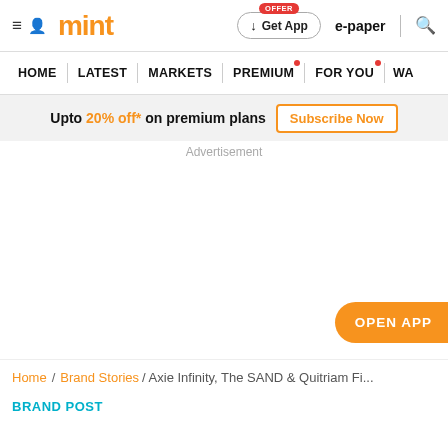mint — Get App | e-paper | search
HOME | LATEST | MARKETS | PREMIUM | FOR YOU | WA...
Upto 20% off* on premium plans  Subscribe Now
Advertisement
OPEN APP
Home / Brand Stories / Axie Infinity, The SAND & Quitriam Fi...
BRAND POST